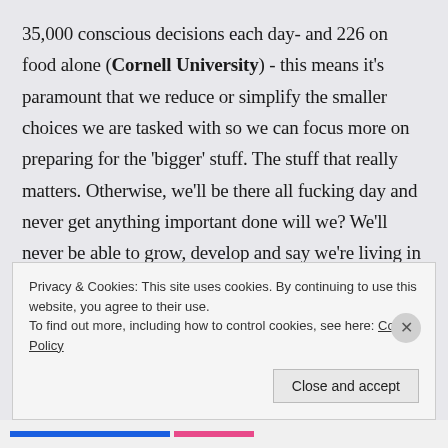35,000 conscious decisions each day- and 226 on food alone (Cornell University) - this means it's paramount that we reduce or simplify the smaller choices we are tasked with so we can focus more on preparing for the 'bigger' stuff. The stuff that really matters. Otherwise, we'll be there all fucking day and never get anything important done will we? We'll never be able to grow, develop and say we're living in accordance to our true purpose because the cycle of procrastination, overthinking and harmful habits will repeat itself. Again and again and again. Much like that movie
Privacy & Cookies: This site uses cookies. By continuing to use this website, you agree to their use. To find out more, including how to control cookies, see here: Cookie Policy